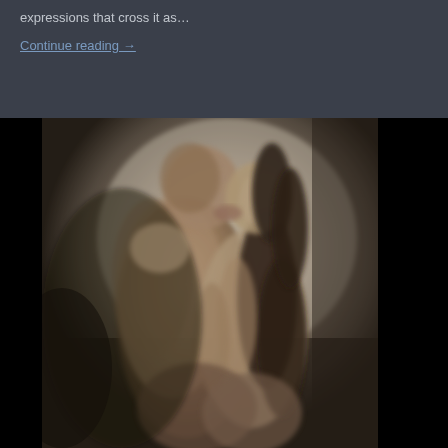expressions that cross it as…
Continue reading →
[Figure (photo): Black and white artistic photograph of a couple embracing and kissing, studio portrait style with dramatic lighting, black letterbox bars on left and right sides]